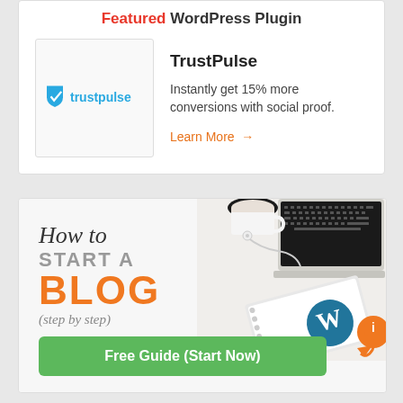Featured WordPress Plugin
[Figure (logo): TrustPulse logo with blue shield checkmark and blue text]
TrustPulse
Instantly get 15% more conversions with social proof.
Learn More →
[Figure (illustration): Blog guide advertisement banner showing How to START A BLOG (step by step) with a green Free Guide (Start Now) button, desk scene with laptop, coffee cup, and WordPress notebook on the right]